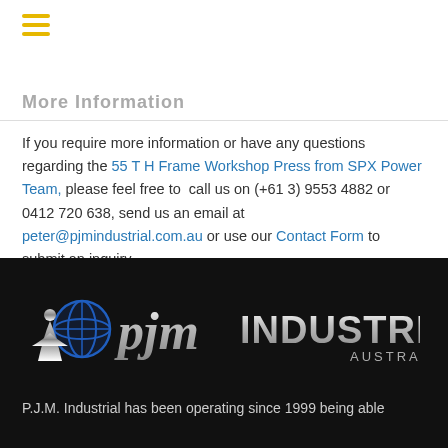☰ (hamburger menu icon)
More Information
If you require more information or have any questions regarding the 55 T H Frame Workshop Press from SPX Power Team, please feel free to call us on (+61 3) 9553 4882 or 0412 720 638, send us an email at peter@pjmindustrial.com.au or use our Contact Form to submit an inquiry.
[Figure (logo): PJM Industrial Australia logo — white globe icon with stylized person, italic 'pjm' in white, 'INDUSTRIAL AUSTRALIA' in metallic white text, on black background]
P.J.M. Industrial has been operating since 1999 being able